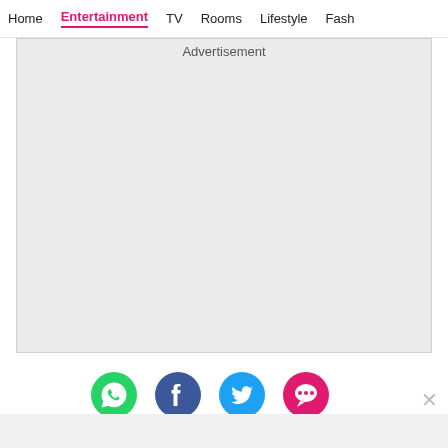Home  Entertainment  TV  Rooms  Lifestyle  Fash
[Figure (other): Advertisement placeholder box with grey background]
[Figure (infographic): Row of four social sharing icons: WhatsApp (green), Facebook (dark blue), Twitter (blue), Chat/Comments (pink-red), with a close X button]